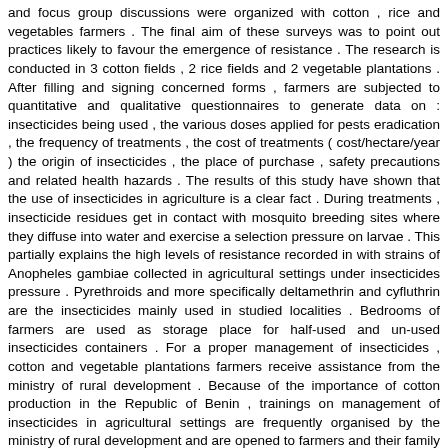and focus group discussions were organized with cotton , rice and vegetables farmers . The final aim of these surveys was to point out practices likely to favour the emergence of resistance . The research is conducted in 3 cotton fields , 2 rice fields and 2 vegetable plantations . After filling and signing concerned forms , farmers are subjected to quantitative and qualitative questionnaires to generate data on : insecticides being used , the various doses applied for pests eradication , the frequency of treatments , the cost of treatments ( cost/hectare/year ) the origin of insecticides , the place of purchase , safety precautions and related health hazards . The results of this study have shown that the use of insecticides in agriculture is a clear fact . During treatments , insecticide residues get in contact with mosquito breeding sites where they diffuse into water and exercise a selection pressure on larvae . This partially explains the high levels of resistance recorded in with strains of Anopheles gambiae collected in agricultural settings under insecticides pressure . Pyrethroids and more specifically deltamethrin and cyfluthrin are the insecticides mainly used in studied localities . Bedrooms of farmers are used as storage place for half-used and un-used insecticides containers . For a proper management of insecticides , cotton and vegetable plantations farmers receive assistance from the ministry of rural development . Because of the importance of cotton production in the Republic of Benin , trainings on management of insecticides in agricultural settings are frequently organised by the ministry of rural development and are opened to farmers and their family members ( husbands , wives , children and relatives . . . ) . In the long run , the whole family learns and becomes very versant with the use of insecticides , spraying frequencies , spraying devices and spraying techniques .
Matching Sentences:
[ Sen. 17, subscore: 3.00 ]: In the long run , the whole family learns and